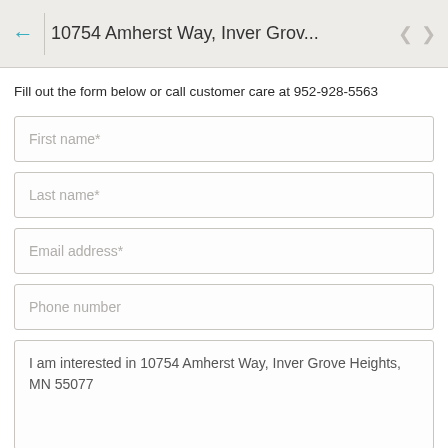10754 Amherst Way, Inver Grov...
Fill out the form below or call customer care at 952-928-5563
First name*
Last name*
Email address*
Phone number
I am interested in 10754 Amherst Way, Inver Grove Heights, MN 55077